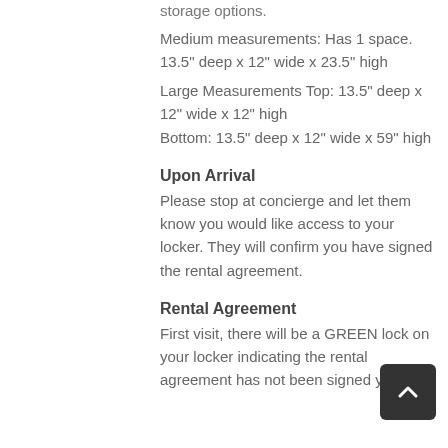storage options.
Medium measurements: Has 1 space. 13.5" deep x 12" wide x 23.5" high
Large Measurements Top: 13.5" deep x 12" wide x 12" high
Bottom: 13.5" deep x 12" wide x 59" high
Upon Arrival
Please stop at concierge and let them know you would like access to your locker. They will confirm you have signed the rental agreement.
Rental Agreement
First visit, there will be a GREEN lock on your locker indicating the rental agreement has not been signed yet.